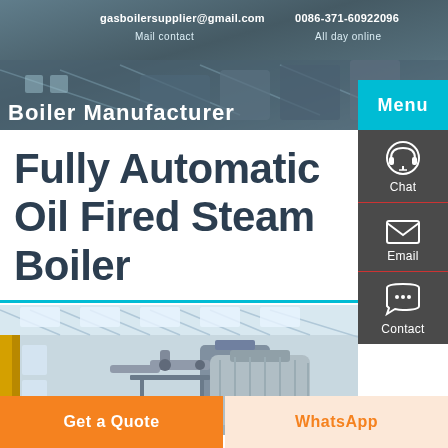gasboilersupplier@gmail.com   0086-371-60922096
Mail contact   All day online
[Figure (photo): Industrial boiler factory/warehouse aerial view header banner background]
Menu
Fully Automatic Oil Fired Steam Boiler
[Figure (illustration): Chat icon (headset/person) with label Chat]
[Figure (illustration): Email icon (envelope) with label Email]
[Figure (illustration): Contact icon (speech bubble with dots) with label Contact]
[Figure (photo): Industrial interior of boiler manufacturing facility showing large boilers, pipes, and steel framework]
Get a Quote
WhatsApp